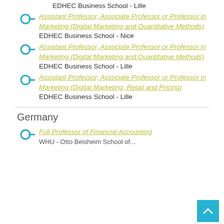EDHEC Business School - Lille
Assistant Professor, Associate Professor or Professor in Marketing (Digital Marketing and Quantitative Methods)
EDHEC Business School - Nice
Assistant Professor, Associate Professor or Professor in Marketing (Digital Marketing and Quantitative Methods)
EDHEC Business School - Lille
Assistant Professor, Associate Professor or Professor in Marketing (Digital Marketing, Retail and Pricing)
EDHEC Business School - Lille
Germany
Full Professor of Financial Accounting
WHU - Otto Beisheim School of...